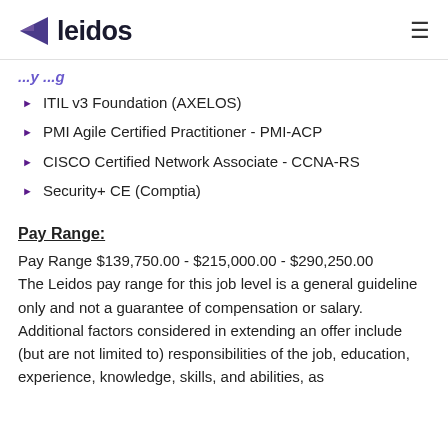leidos
(partial, cut off) ...y ...g
ITIL v3 Foundation (AXELOS)
PMI Agile Certified Practitioner - PMI-ACP
CISCO Certified Network Associate - CCNA-RS
Security+ CE (Comptia)
Pay Range:
Pay Range $139,750.00 - $215,000.00 - $290,250.00
The Leidos pay range for this job level is a general guideline only and not a guarantee of compensation or salary. Additional factors considered in extending an offer include (but are not limited to) responsibilities of the job, education, experience, knowledge, skills, and abilities, as